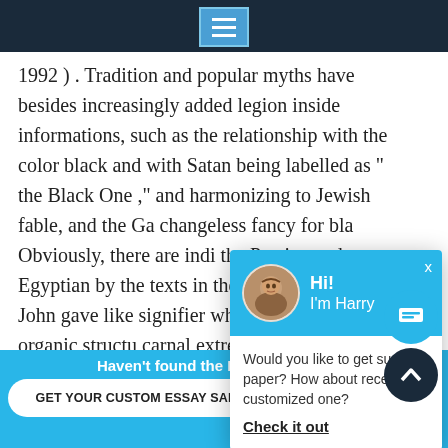[Figure (screenshot): Dark navy top navigation bar with a hamburger menu icon button in the center (cyan/blue square with three white horizontal lines)]
1992 ) . Tradition and popular myths have besides increasingly added legion inside informations, such as the relationship with the color black and with Satan being labelled as " the Black One ," and harmonizing to Jewish fable, and the Ga[oats'] changeless fancy for bla[ck]. Obviously, there are indi[cations from] the Persian and Egyptian[...] by the texts in the New T[estament.] Revelation of John gave [...] like signifier which was s[...] a human organic structu[re with] carnal extremities such [...] legs entwined with serpents every bit good as the w[ings] which are frequently comparatively different to tha[t...]
[Figure (screenshot): Chat popup widget with cyan header showing avatar photo of young man and greeting 'Hi! I'm Harry', body text asking 'Would you like to get such a paper? How about receiving a customized one?' with 'Check it out' link]
[Figure (screenshot): Bottom blue banner with text 'Haven't found the Essay You Want?' and white pill-shaped button 'GET YOUR CUSTOM ESSAY SAMPLE' and price 'For Only $13.90/page']